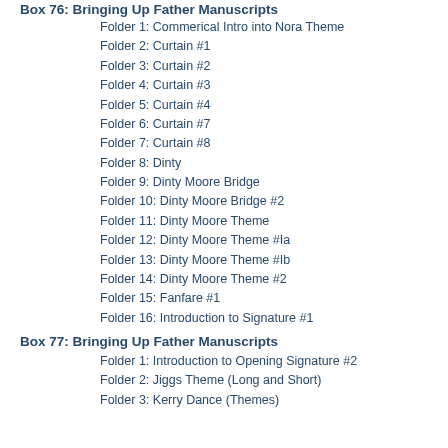Box 76: Bringing Up Father Manuscripts
Folder 1: Commerical Intro into Nora Theme
Folder 2: Curtain #1
Folder 3: Curtain #2
Folder 4: Curtain #3
Folder 5: Curtain #4
Folder 6: Curtain #7
Folder 7: Curtain #8
Folder 8: Dinty
Folder 9: Dinty Moore Bridge
Folder 10: Dinty Moore Bridge #2
Folder 11: Dinty Moore Theme
Folder 12: Dinty Moore Theme #Ia
Folder 13: Dinty Moore Theme #Ib
Folder 14: Dinty Moore Theme #2
Folder 15: Fanfare #1
Folder 16: Introduction to Signature #1
Box 77: Bringing Up Father Manuscripts
Folder 1: Introduction to Opening Signature #2
Folder 2: Jiggs Theme (Long and Short)
Folder 3: Kerry Dance (Themes)